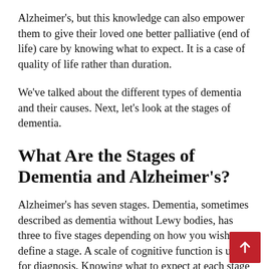Alzheimer's, but this knowledge can also empower them to give their loved one better palliative (end of life) care by knowing what to expect. It is a case of quality of life rather than duration.
We've talked about the different types of dementia and their causes. Next, let's look at the stages of dementia.
What Are the Stages of Dementia and Alzheimer's?
Alzheimer's has seven stages. Dementia, sometimes described as dementia without Lewy bodies, has three to five stages depending on how you wish to define a stage. A scale of cognitive function is used for diagnosis. Knowing what to expect at each stage can help you be a better caregiver for you